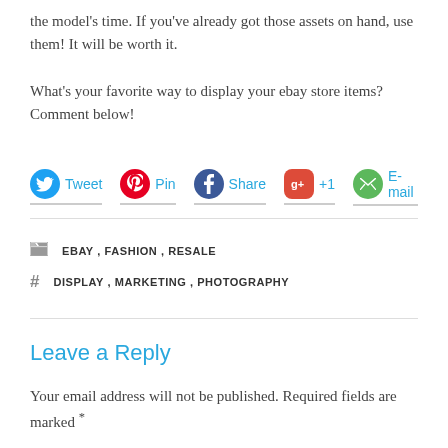the model's time. If you've already got those assets on hand, use them! It will be worth it.
What's your favorite way to display your ebay store items? Comment below!
[Figure (infographic): Social sharing buttons: Tweet (Twitter), Pin (Pinterest), Share (Facebook), +1 (Google+), E-mail]
EBAY, FASHION, RESALE
DISPLAY, MARKETING, PHOTOGRAPHY
Leave a Reply
Your email address will not be published. Required fields are marked *